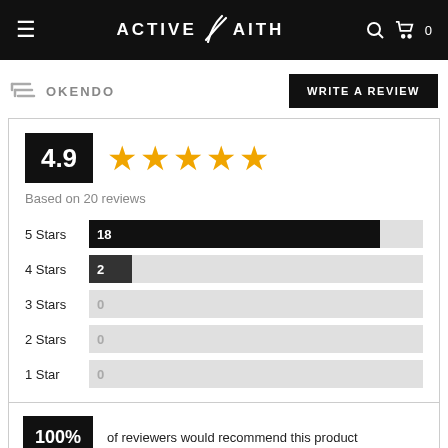ACTIVE FAITH — navigation bar with hamburger menu, logo, search and cart icons
[Figure (screenshot): Okendo brand logo (stacked lines icon) and OKENDO text]
WRITE A REVIEW
4.9
[Figure (other): 5 gold stars rating display]
Based on 20 reviews
| Stars | Count |
| --- | --- |
| 5 Stars | 18 |
| 4 Stars | 2 |
| 3 Stars | 0 |
| 2 Stars | 0 |
| 1 Star | 0 |
100% of reviewers would recommend this product